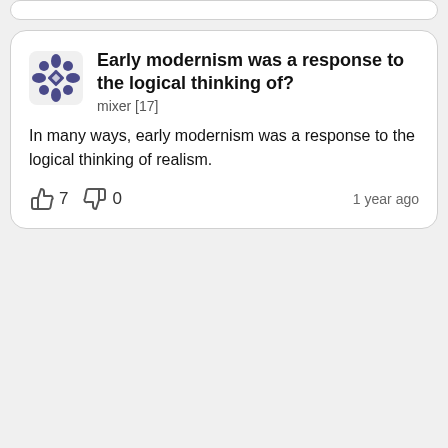Early modernism was a response to the logical thinking of?
mixer [17]
In many ways, early modernism was a response to the logical thinking of realism.
👍 7   👎 0   1 year ago